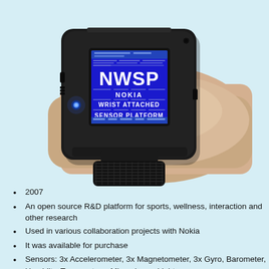[Figure (photo): A Nokia NWSP (Nokia Wrist Sensor Platform) wearable device worn on a person's wrist. The device is a black rectangular unit with a blue LCD screen displaying 'NWSP', 'NOKIA', 'WRIST ATTACHED', 'SENSOR PLATFORM' text. There is a glowing blue LED on the left side. The device is attached to the wrist with a black strap.]
2007
An open source R&D platform for sports, wellness, interaction and other research
Used in various collaboration projects with Nokia
It was available for purchase
Sensors: 3x Accelerometer, 3x Magnetometer, 3x Gyro, Barometer, Humidity, Temperature, Microphone, Light
Colour display, RGB LED, touch pad, buzzer, vibra